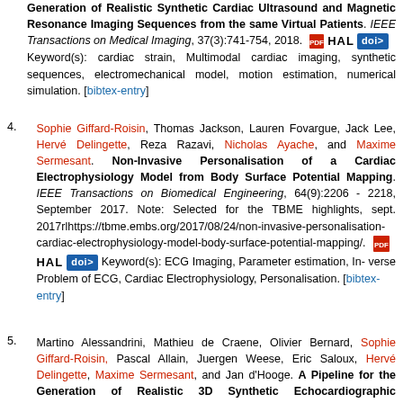Generation of Realistic Synthetic Cardiac Ultrasound and Magnetic Resonance Imaging Sequences from the same Virtual Patients. IEEE Transactions on Medical Imaging, 37(3):741-754, 2018. [PDF] HAL doi> Keyword(s): cardiac strain, Multimodal cardiac imaging, synthetic sequences, electromechanical model, motion estimation, numerical simulation. [bibtex-entry]
4. Sophie Giffard-Roisin, Thomas Jackson, Lauren Fovargue, Jack Lee, Hervé Delingette, Reza Razavi, Nicholas Ayache, and Maxime Sermesant. Non-Invasive Personalisation of a Cardiac Electrophysiology Model from Body Surface Potential Mapping. IEEE Transactions on Biomedical Engineering, 64(9):2206 - 2218, September 2017. Note: Selected for the TBME highlights, sept. 2017rlhttps://tbme.embs.org/2017/08/24/non-invasive-personalisation-cardiac-electrophysiology-model-body-surface-potential-mapping/. [PDF] HAL doi> Keyword(s): ECG Imaging, Parameter estimation, In-verse Problem of ECG, Cardiac Electrophysiology, Personalisation. [bibtex-entry]
5. Martino Alessandrini, Mathieu de Craene, Olivier Bernard, Sophie Giffard-Roisin, Pascal Allain, Juergen Weese, Eric Saloux, Hervé Delingette, Maxime Sermesant, and Jan d'Hooge. A Pipeline for the Generation of Realistic 3D Synthetic Echocardiographic Sequences: Methodology